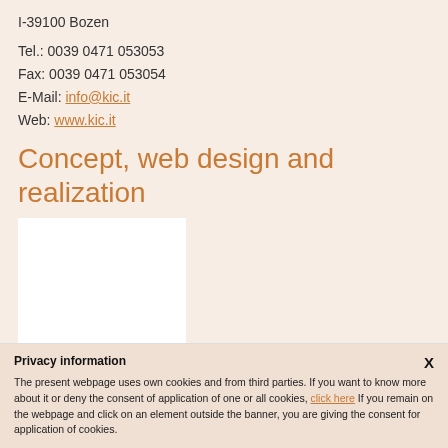I-39100 Bozen
Tel.: 0039 0471 053053
Fax: 0039 0471 053054
E-Mail: info@kic.it
Web: www.kic.it
Concept, web design and realization
[Figure (other): White rectangle image placeholder]
Privacy information
The present webpage uses own cookies and from third parties. If you want to know more about it or deny the consent of application of one or all cookies, click here If you remain on the webpage and click on an element outside the banner, you are giving the consent for application of cookies.